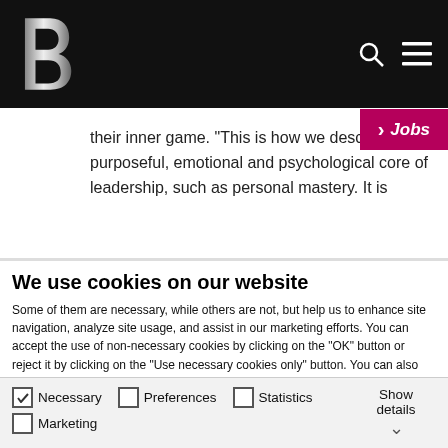B [logo] | Search | Menu | > Jobs
their inner game. "This is how we describe the purposeful, emotional and psychological core of leadership, such as personal mastery. It is
We use cookies on our website
Some of them are necessary, while others are not, but help us to enhance site navigation, analyze site usage, and assist in our marketing efforts. You can accept the use of non-necessary cookies by clicking on the "OK" button or reject it by clicking on the "Use necessary cookies only" button. You can also only agree to certain cookie groups (preferences, statistics, marketing) by selecting them and clicking “Allow selection”. You can access the cookie settings at any time and also deselect cookies later on at any time. To do so, please go to our Privacy Policy, which contains further information and can be found in the footer of our website. Show Legal.
OK
Allow selection
Use necessary cookies only
Necessary  Preferences  Statistics  Marketing  Show details